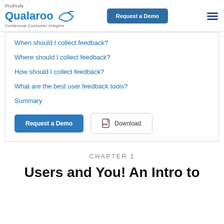ProProfs Qualaroo Contextual Customer Insights | Request a Demo
When should I collect feedback?
Where should I collect feedback?
How should I collect feedback?
What are the best user feedback tools?
Summary
Request a Demo | Download
CHAPTER 1
Users and You! An Intro to